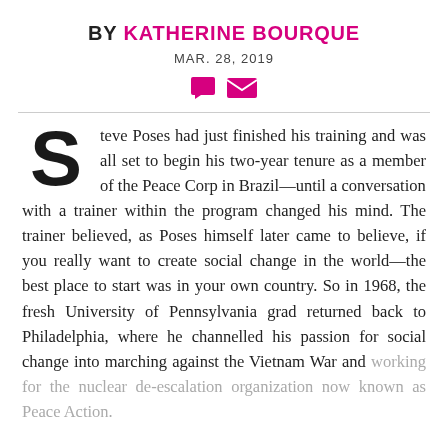BY KATHERINE BOURQUE
MAR. 28, 2019
[Figure (illustration): Two pink icons: a speech bubble (comment) and an envelope (email)]
Steve Poses had just finished his training and was all set to begin his two-year tenure as a member of the Peace Corp in Brazil—until a conversation with a trainer within the program changed his mind. The trainer believed, as Poses himself later came to believe, if you really want to create social change in the world—the best place to start was in your own country. So in 1968, the fresh University of Pennsylvania grad returned back to Philadelphia, where he channelled his passion for social change into marching against the Vietnam War and working for the nuclear de-escalation organization now known as Peace Action.